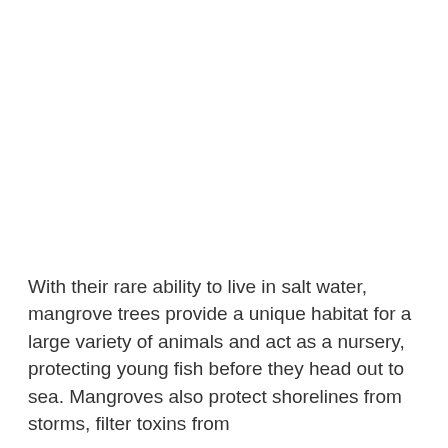With their rare ability to live in salt water, mangrove trees provide a unique habitat for a large variety of animals and act as a nursery, protecting young fish before they head out to sea. Mangroves also protect shorelines from storms, filter toxins from